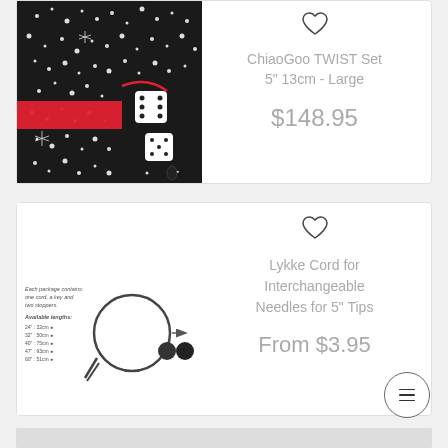[Figure (photo): ChiaoGoo TWIST Set needle case in black floral pattern with red ribbon, shown with accessories]
ChiaoGoo TWIST Set 5" 13cm - Large
$148.95
[Figure (photo): Lykke cord for interchangeable needles showing loop cord, arrow, and two end stoppers with package info text]
Lykke Cord for Interchangeable Needles for 5" Tips
From $3.95